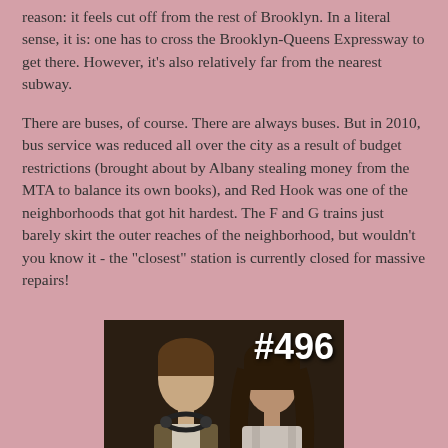reason: it feels cut off from the rest of Brooklyn. In a literal sense, it is: one has to cross the Brooklyn-Queens Expressway to get there. However, it's also relatively far from the nearest subway.
There are buses, of course. There are always buses. But in 2010, bus service was reduced all over the city as a result of budget restrictions (brought about by Albany stealing money from the MTA to balance its own books), and Red Hook was one of the neighborhoods that got hit hardest. The F and G trains just barely skirt the outer reaches of the neighborhood, but wouldn't you know it - the "closest" station is currently closed for massive repairs!
[Figure (photo): Two people facing each other, man with headphones around neck, woman with long dark hair, with '#496' text overlay and '500 OR BUST' caption below on white bar]